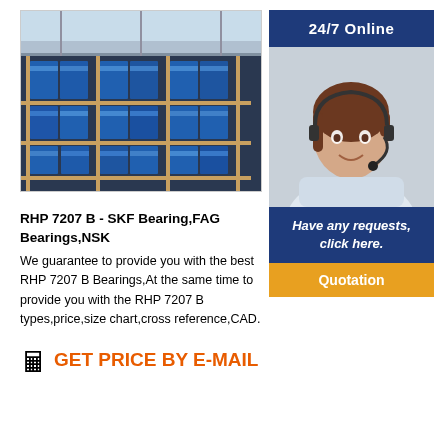[Figure (photo): Warehouse shelves stocked with blue-packaged bearing products]
RHP 7207 B - SKF Bearing,FAG Bearings,NSK
We guarantee to provide you with the best RHP 7207 B Bearings,At the same time to provide you with the RHP 7207 B types,price,size chart,cross reference,CAD.
🖩 GET PRICE BY E-MAIL
[Figure (infographic): 24/7 Online banner with customer service agent photo, 'Have any requests, click here.' text, and Quotation button]